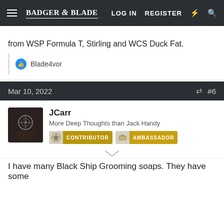Badger & Blade — LOG IN   REGISTER
from WSP Formula T, Stirling and WCS Duck Fat.
Blade4vor
Mar 10, 2022   #6
JCarr
More Deep Thoughts than Jack Handy
CONTRIBUTOR   AMBASSADOR
I have many Black Ship Grooming soaps. They have some